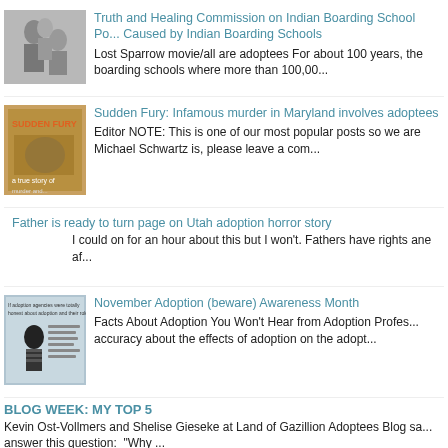[Figure (photo): Black and white photo of children, likely Native American, sitting together]
Truth and Healing Commission on Indian Boarding School Po... Caused by Indian Boarding Schools
Lost Sparrow movie/all are adoptees For about 100 years, the boarding schools where more than 100,00...
[Figure (photo): Book cover image - Sudden Fury, orange and brown tones]
Sudden Fury: Infamous murder in Maryland involves adoptees
Editor NOTE: This is one of our most popular posts so we are Michael Schwartz is, please leave a com...
Father is ready to turn page on Utah adoption horror story
I could on for an hour about this but I won't. Fathers have rights ane af...
[Figure (illustration): Illustrated poster or flyer about adoption facts, featuring a woman illustration]
November Adoption (beware) Awareness Month
Facts About Adoption You Won't Hear from Adoption Profes... accuracy about the effects of adoption on the adopt...
BLOG WEEK: MY TOP 5
Kevin Ost-Vollmers and Shelise Gieseke at Land of Gazillion Adoptees Blog sa... answer this question:   "Why ...
[Figure (photo): Photo thumbnail - person, 60s Scoop adoptee Eric Schweig]
60s Scoop adontee: Eric Schweig